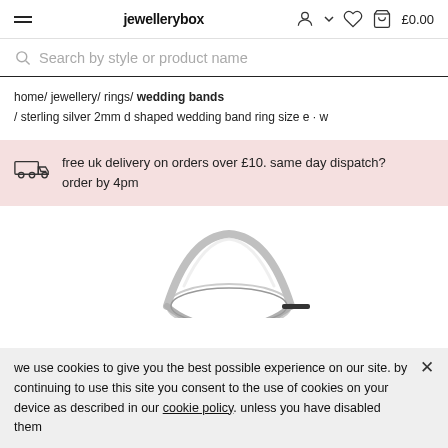jewellerybox — £0.00
Search by style or product name
home / jewellery / rings / wedding bands / sterling silver 2mm d shaped wedding band ring size e - w
free uk delivery on orders over £10. same day dispatch? order by 4pm
[Figure (photo): Close-up of a silver wedding band ring against a white background]
we use cookies to give you the best possible experience on our site. by continuing to use this site you consent to the use of cookies on your device as described in our cookie policy. unless you have disabled them